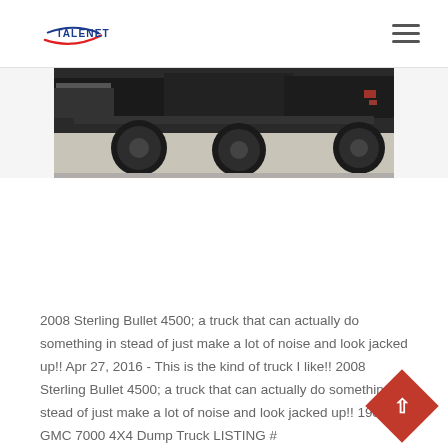TALENET
[Figure (photo): Bottom portion of multiple heavy dump trucks lined up in a row, showing undercarriage, tires, and lower body panels on a paved lot.]
2008 Sterling Bullet 4500; a truck that can actually do something in stead of just make a lot of noise and look jacked up!! Apr 27, 2016 - This is the kind of truck I like!! 2008 Sterling Bullet 4500; a truck that can actually do something in stead of just make a lot of noise and look jacked up!! 1987 GMC 7000 4X4 Dump Truck LISTING #